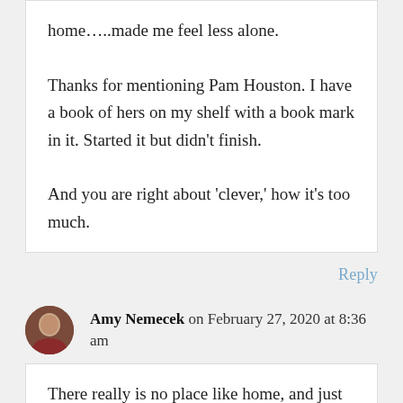home…..made me feel less alone.

Thanks for mentioning Pam Houston. I have a book of hers on my shelf with a book mark in it. Started it but didn't finish.

And you are right about 'clever,' how it's too much.
Reply
Amy Nemecek on February 27, 2020 at 8:36 am
There really is no place like home, and just when we think we've found it and then feel a new season coming on, it can be unsettling. Stay with what